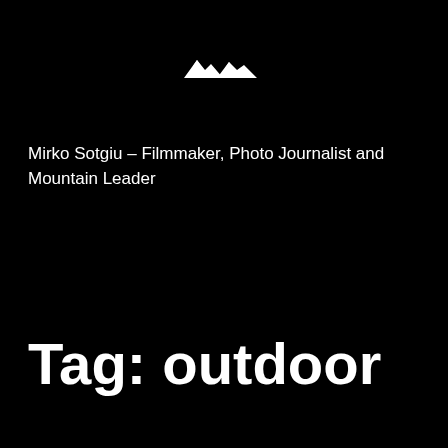[Figure (logo): Small white mountain/landscape logo silhouette on black background, centered near top of page]
Mirko Sotgiu – Filmmaker, Photo Journalist and Mountain Leader
Tag: outdoor